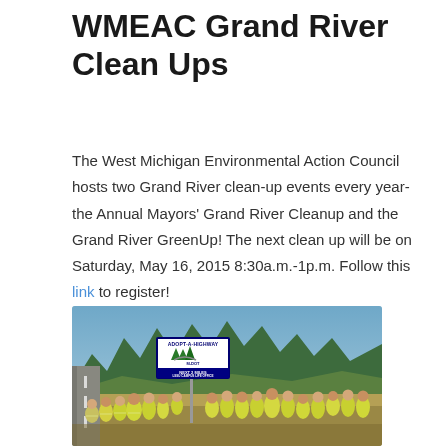WMEAC Grand River Clean Ups
The West Michigan Environmental Action Council hosts two Grand River clean-up events every year- the Annual Mayors' Grand River Cleanup and the Grand River GreenUp! The next clean up will be on Saturday, May 16, 2015 8:30a.m.-1p.m. Follow this link to register!
[Figure (photo): Group of volunteers in yellow safety vests standing in front of an Adopt-A-Highway sign (M-DOT, Next 2 Miles, LSSU Campus Life Office) along a road with trees in the background.]